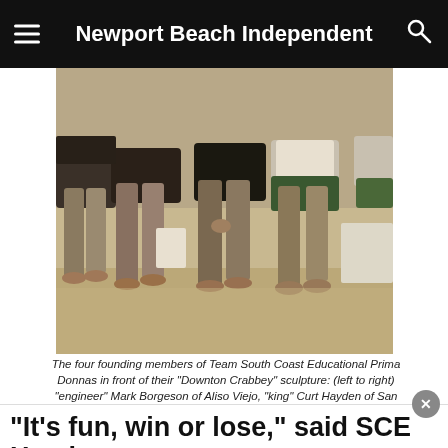Newport Beach Independent
[Figure (photo): Photo of four people seated on sand at a beach, showing their legs and torsos from approximately waist down, on a sunny day.]
The four founding members of Team South Coast Educational Prima Donnas in front of their "Downton Crabbey" sculpture: (left to right) "engineer" Mark Borgeson of Aliso Viejo, "king" Curt Hayden of San Juan Capistrano, "artistic director" Jim Martin of Mission Viejo, and "delicate genius" Max Cantu of Temecula.
“It’s fun, win or lose,” said SCE Prima Donna captain Curt Hayden